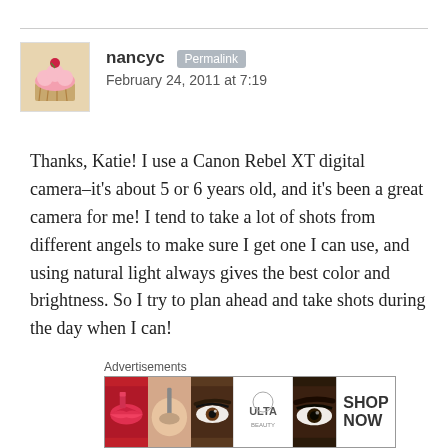[Figure (illustration): User avatar: cupcake with pink frosting and cherry on top]
nancyc [Permalink button] February 24, 2011 at 7:19
Thanks, Katie! I use a Canon Rebel XT digital camera–it's about 5 or 6 years old, and it's been a great camera for me! I tend to take a lot of shots from different angels to make sure I get one I can use, and using natural light always gives the best color and brightness. So I try to plan ahead and take shots during the day when I can!
★ Like
Reply ↓
Advertisements
[Figure (photo): Ulta beauty advertisement banner showing makeup looks and SHOP NOW text]